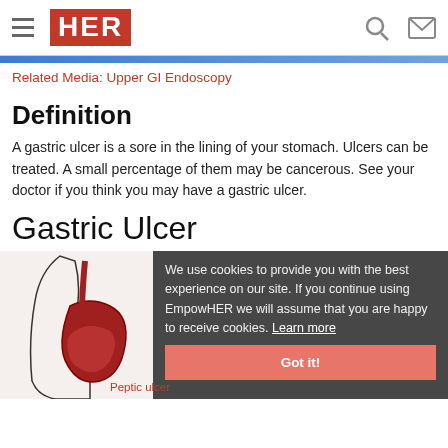HER
Related Media: Upper GI Endoscopy
Definition
A gastric ulcer is a sore in the lining of your stomach. Ulcers can be treated. A small percentage of them may be cancerous. See your doctor if you think you may have a gastric ulcer.
Gastric Ulcer
[Figure (illustration): Medical illustration of a gastric ulcer / stomach anatomy (peptic ulcer diagram), partially obscured by a cookie consent overlay.]
We use cookies to provide you with the best experience on our site. If you continue using EmpowHER we will assume that you are happy to receive cookies. Learn more
Got it!
Peptic ulcer